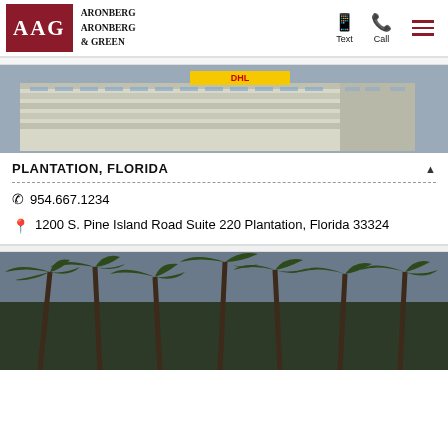Aronberg Aronberg & Green — Text | Call | Menu
[Figure (photo): Exterior photo of a multi-story office building with a DHL logo on the top, against a grey sky — Plantation, Florida office location]
PLANTATION, FLORIDA
954.667.1234
1200 S. Pine Island Road Suite 220 Plantation, Florida 33324
[Figure (photo): Photo of palm trees against a blue-grey sky, representing another office location]